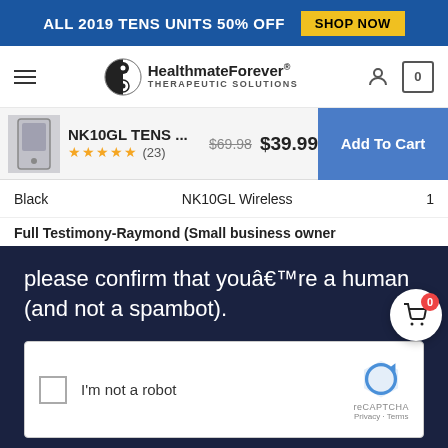ALL 2019 TENS UNITS 50% OFF  SHOP NOW
[Figure (screenshot): HealthmateForever Therapeutic Solutions logo with yin-yang circle icon, hamburger menu, user icon, and cart icon showing 0]
[Figure (screenshot): Sticky product bar: NK10GL TENS ... product thumbnail, 5 stars (23 reviews), $69.98 crossed out, $39.99, Add To Cart button]
Black   NK10GL Wireless   1
Full Testimony-Raymond (Small business owner
please confirm that youâ€™re a human (and not a spambot).
[Figure (screenshot): reCAPTCHA widget with checkbox labeled I'm not a robot, reCAPTCHA logo, Privacy and Terms links. Cart badge showing 0 overlaid in upper right.]